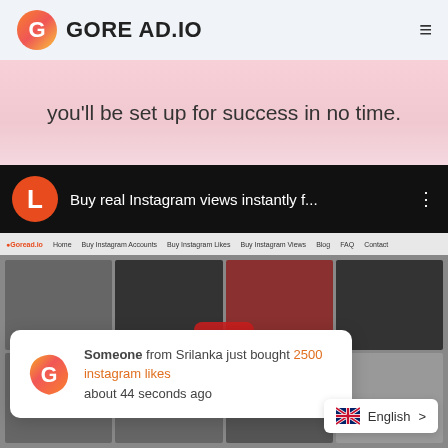[Figure (logo): Gore Ad.io logo with G icon and text]
you'll be set up for success in no time.
[Figure (screenshot): YouTube-style video player showing 'Buy real Instagram views instantly f...' with thumbnail of Goread.io website and image grid]
Someone from Srilanka just bought 2500 instagram likes about 44 seconds ago
English >